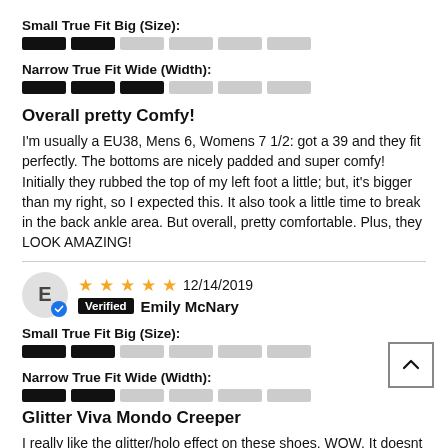Small True Fit Big (Size):
[Figure (infographic): Horizontal bar scale for size: 2 dark segments, 4 light segments]
Narrow True Fit Wide (Width):
[Figure (infographic): Horizontal bar scale for width: 3 dark segments, 3 light segments]
Overall pretty Comfy!
I'm usually a EU38, Mens 6, Womens 7 1/2: got a 39 and they fit perfectly. The bottoms are nicely padded and super comfy! Initially they rubbed the top of my left foot a little; but, it's bigger than my right, so I expected this. It also took a little time to break in the back ankle area. But overall, pretty comfortable. Plus, they LOOK AMAZING!
[Figure (infographic): Reviewer avatar circle with letter E and verified badge, 5 stars, date 12/14/2019, Verified badge, name Emily McNary]
Small True Fit Big (Size):
[Figure (infographic): Horizontal bar scale for size: 2 dark segments, 4 light segments]
Narrow True Fit Wide (Width):
[Figure (infographic): Horizontal bar scale for width: 2 dark segments, 4 light segments]
Glitter Viva Mondo Creeper
I really like the glitter/holo effect on these shoes. WOW. It doesnt